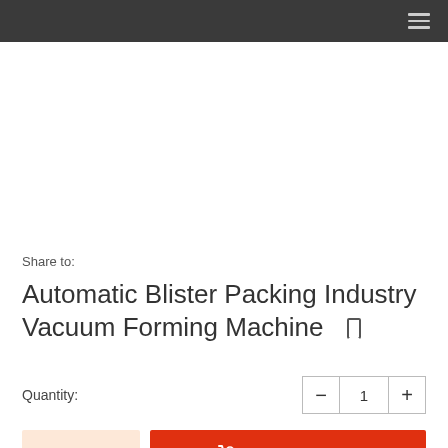≡
Share to:
Automatic Blister Packing Industry Vacuum Forming Machine
Quantity: 1
Inquire
Add to Basket